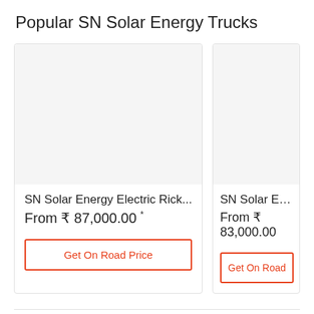Popular SN Solar Energy Trucks
[Figure (other): Product card image placeholder for SN Solar Energy Electric Rick... (light gray background)]
SN Solar Energy Electric Rick...
From ₹ 87,000.00 *
Get On Road Price
[Figure (other): Product card image placeholder for SN Solar Energy Ba... (light gray background, partially visible)]
SN Solar Energy Ba...
From ₹ 83,000.00
Get On Road
View All SN Solar Energy Trucks